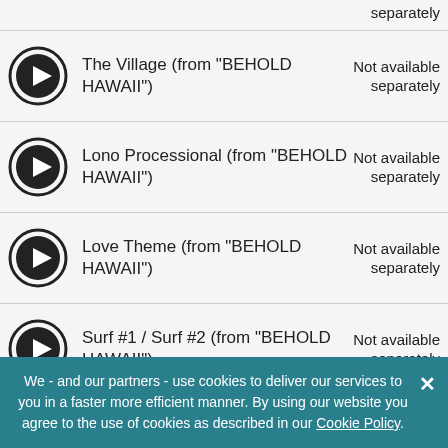separately
The Village (from "BEHOLD HAWAII") — Not available separately
Lono Processional (from "BEHOLD HAWAII") — Not available separately
Love Theme (from "BEHOLD HAWAII") — Not available separately
Surf #1 / Surf #2 (from "BEHOLD HAWAII") — Not available separately
Fight / Fight II (from "BEHOLD HAWAII") — Not available separately
Hula (from "BEHOLD HAWAII") — Not available
We - and our partners - use cookies to deliver our services to you in a faster more efficient manner. By using our website you agree to the use of cookies as described in our Cookie Policy.